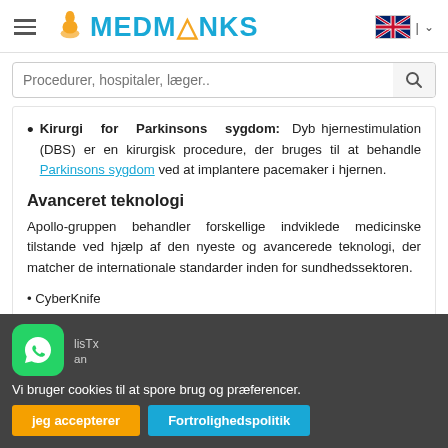MEDMÅNKS — navigation header with hamburger menu and language selector
Procedurer, hospitaler, læger..
Kirurgi for Parkinsons sygdom: Dyb hjernestimulation (DBS) er en kirurgisk procedure, der bruges til at behandle Parkinsons sygdom ved at implantere pacemaker i hjernen.
Avanceret teknologi
Apollo-gruppen behandler forskellige indviklede medicinske tilstande ved hjælp af den nyeste og avancerede teknologi, der matcher de internationale standarder inden for sundhedssektoren.
CyberKnife
lisTx
an
Vi bruger cookies til at spore brug og præferencer.
jeg accepterer | Fortrolighedspolitik